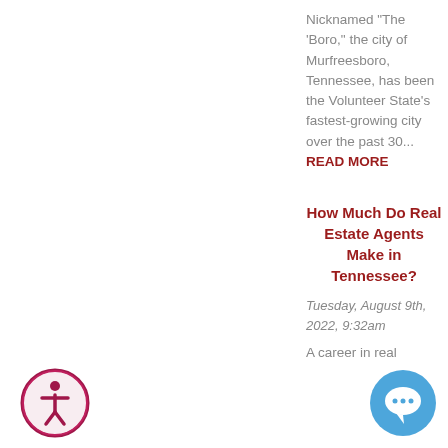Nicknamed "The 'Boro," the city of Murfreesboro, Tennessee, has been the Volunteer State's fastest-growing city over the past 30... READ MORE
How Much Do Real Estate Agents Make in Tennessee?
Tuesday, August 9th, 2022, 9:32am
A career in real
[Figure (logo): Accessibility icon — circular badge with a human figure inside, dark pink/maroon border on white background]
[Figure (logo): Chat/support icon — circular blue button with a speech bubble icon]